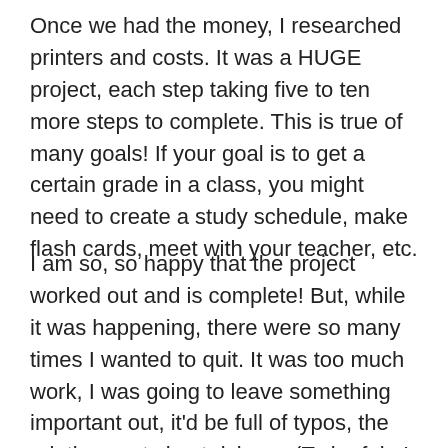Once we had the money, I researched printers and costs. It was a HUGE project, each step taking five to ten more steps to complete. This is true of many goals! If your goal is to get a certain grade in a class, you might need to create a study schedule, make flash cards, meet with your teacher, etc.
I am so, so happy that the project worked out and is complete! But, while it was happening, there were so many times I wanted to quit. It was too much work, I was going to leave something important out, it'd be full of typos, the printing costs kept rising… (To be fair, I *did*